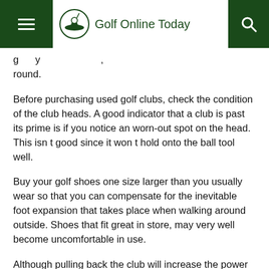Golf Online Today
g y . round.
Before purchasing used golf clubs, check the condition of the club heads. A good indicator that a club is past its prime is if you notice an worn-out spot on the head. This isn t good since it won t hold onto the ball tool well.
Buy your golf shoes one size larger than you usually wear so that you can compensate for the inevitable foot expansion that takes place when walking around outside. Shoes that fit great in store, may very well become uncomfortable in use.
Although pulling back the club will increase the power of your swing, when you swing back too far, you lose your correct posture and this can result in your missing the ball